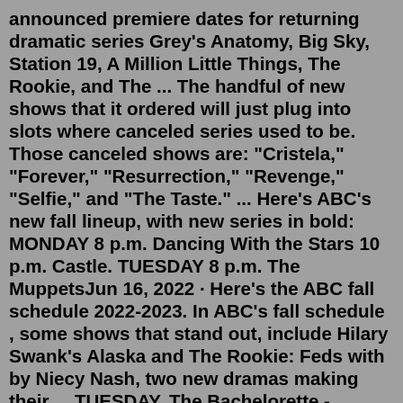announced premiere dates for returning dramatic series Grey's Anatomy, Big Sky, Station 19, A Million Little Things, The Rookie, and The ... The handful of new shows that it ordered will just plug into slots where canceled series used to be. Those canceled shows are: "Cristela," "Forever," "Resurrection," "Revenge," "Selfie," and "The Taste." ... Here's ABC's new fall lineup, with new series in bold: MONDAY 8 p.m. Dancing With the Stars 10 p.m. Castle. TUESDAY 8 p.m. The MuppetsJun 16, 2022 · Here's the ABC fall schedule 2022-2023. In ABC's fall schedule , some shows that stand out, include Hilary Swank's Alaska and The Rookie: Feds with by Niecy Nash, two new dramas making their ... TUESDAY. The Bachelorette - WATCH THE SEASON PREMIERE HERE! Big Sky (NEW SHOW) - SERIES PREMIERE NOV 17 10|9c. WEDNESDAY. The Goldbergs - WATCH THE SEASON PREMIERE HERE. American Housewife - WATCH THE SEASON PREMIERE. The Conners - WATCH THE SEASON PREMIERE. blackish - WATCH